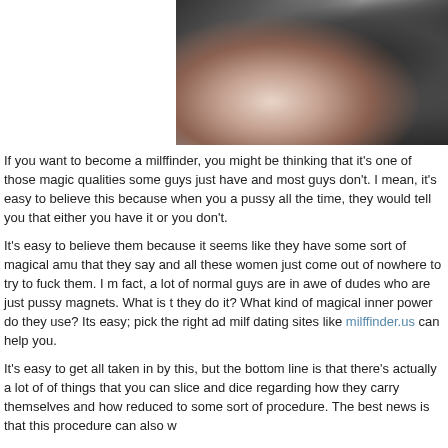[Figure (photo): Partial photo of a person, cropped, mostly dark tones with some skin visible, black and white/dark clothing]
If you want to become a milffinder, you might be thinking that it's one of those magic qualities some guys just have and most guys don't. I mean, it's easy to believe this because when you ask guys who are getting pussy all the time, they would tell you that either you have it or you don't.
It's easy to believe them because it seems like they have some sort of magical amusement about them. Anything that they say and all these women just come out of nowhere to try to fuck them. I mean, let's face it, in fact, a lot of normal guys are in awe of dudes who are just pussy magnets. What is their secret? How do they do it? What kind of magical inner power do they use? Its easy; pick the right adult dating sites. The best milf dating sites like milffinder.us can help you.
It's easy to get all taken in by this, but the bottom line is that there's actually a lot of things, a tremendous amount of things that you can slice and dice regarding how they carry themselves and how they operate that can be reduced to some sort of procedure. The best news is that this procedure can also work for you.
The bottom line with converting attracting pussy into a science is this: If somebody does it, you can reverse-engineer it. In other words, there's a tremendous amount of optimism here because, as fantastical and as exotic as Don Juan or Casanova may be, there are certain behavioral patterns that we can study and reverse engineer and adapt to, to distill proper procedures and operations that we ourselves can implement.
I know I sound like a fucking MBA or some sort of tech geek, but the bottom line is t